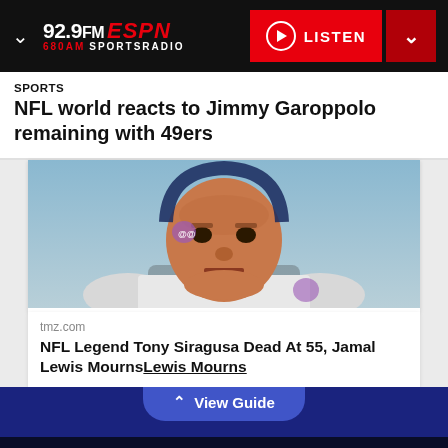[Figure (screenshot): 92.9FM ESPN 680AM SportsRadio logo with LISTEN button and dropdown chevron on dark header bar]
SPORTS
NFL world reacts to Jimmy Garoppolo remaining with 49ers
[Figure (photo): Photo of NFL player Tony Siragusa in Baltimore Ravens white uniform, close-up portrait with serious expression]
tmz.com
NFL Legend Tony Siragusa Dead At 55, Jamal Lewis Mourns
View Guide
[Figure (screenshot): Audio player controls: rewind 15 seconds, play/pause, fast forward 15 seconds buttons in orange on dark background]